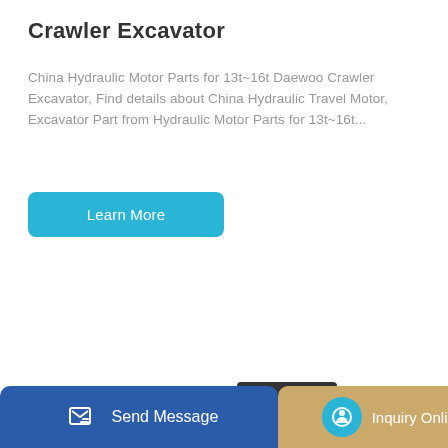Crawler Excavator
China Hydraulic Motor Parts for 13t~16t Daewoo Crawler Excavator, Find details about China Hydraulic Travel Motor, Excavator Part from Hydraulic Motor Parts for 13t~16t...
Learn More
[Figure (photo): Yellow and black crawler excavator (mini excavator) with raised arm and bucket, shown on white background]
Send Message
Inquiry Online